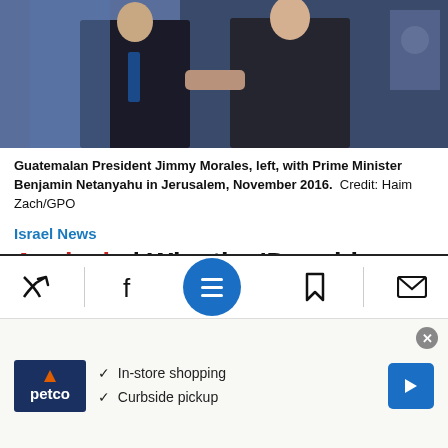[Figure (photo): Two men in suits shaking hands in front of a blue backdrop with emblems, one identified as Guatemalan President Jimmy Morales and the other as Israeli Prime Minister Benjamin Netanyahu in Jerusalem, November 2016.]
Guatemalan President Jimmy Morales, left, with Prime Minister Benjamin Netanyahu in Jerusalem, November 2016.  Credit: Haim Zach/GPO
Israel News
Analysis | Why the 'Donald Trump of Guatemala' Will Move His Country's Embassy to Jerusalem
Jimmy Morales has gone from TV comedian to convention-busting president – but he's